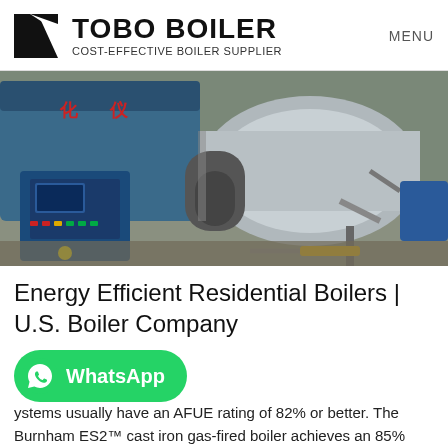TOBO BOILER — COST-EFFECTIVE BOILER SUPPLIER | MENU
[Figure (photo): Industrial boiler room showing large blue/grey gas-fired boilers with control panels, burner assemblies, piping, and valves in a factory setting.]
Energy Efficient Residential Boilers | U.S. Boiler Company
[Figure (infographic): WhatsApp contact button (green rounded rectangle with WhatsApp logo and text 'WhatsApp')]
ystems usually have an AFUE rating of 82% or better. The Burnham ES2™ cast iron gas-fired boiler achieves an 85% AFUE rating. Our super-